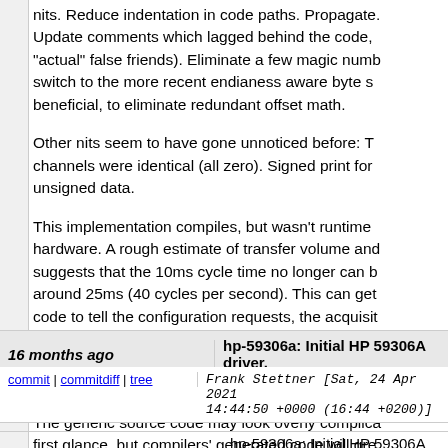nits. Reduce indentation in code paths. Propagate. Update comments which lagged behind the code, "actual" false friends). Eliminate a few magic numbers, switch to the more recent endianess aware byte swaps, where beneficial, to eliminate redundant offset math.
Other nits seem to have gone unnoticed before: The channels were identical (all zero). Signed print formats for unsigned data.
This implementation compiles, but wasn't runtime tested on hardware. A rough estimate of transfer volume and timing suggests that the 10ms cycle time no longer can be met, around 25ms (40 cycles per second). This can get worse, need code to tell the configuration requests, the acquisition and measurements grabbing during acquisition apart. Interesting: the 10ms glib poll interval did not translate to such fast data gathering. The firmware may typically provide data at ...
The generic source code may look overly complicated at first glance, but compilers' generated code will greatly simplify. Simplified maintenance because of reduced cognitive load is more important.
16 months ago
hp-59306a: Initial HP 59306A driver.
commit | commitdiff | tree
Frank Stettner [Sat, 24 Apr 2021 14:44:50 +0000 (16:44 +0200)]
hp-59306a: Initial HP 59306A driver.